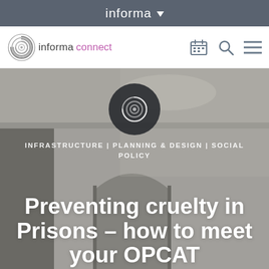informa
[Figure (logo): Informa Connect logo with spiral circle icon and text 'informa connect' in grey and purple]
[Figure (photo): Background photo of a prison interior showing a corridor with doors and ceiling, muted grey-beige tones]
INFRASTRUCTURE | PLANNING & DESIGN | SOCIAL POLICY
Preventing cruelty in Prisons – how to meet your OPCAT